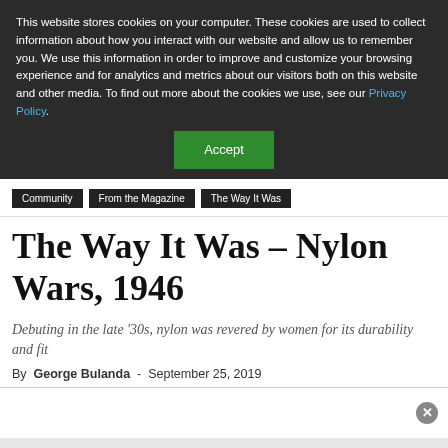This website stores cookies on your computer. These cookies are used to collect information about how you interact with our website and allow us to remember you. We use this information in order to improve and customize your browsing experience and for analytics and metrics about our visitors both on this website and other media. To find out more about the cookies we use, see our Privacy Policy.
Accept
Community | From the Magazine | The Way It Was
The Way It Was – Nylon Wars, 1946
Debuting in the late '30s, nylon was revered by women for its durability and fit
By George Bulanda - September 25, 2019
[Figure (photo): Article image placeholder area with close button]